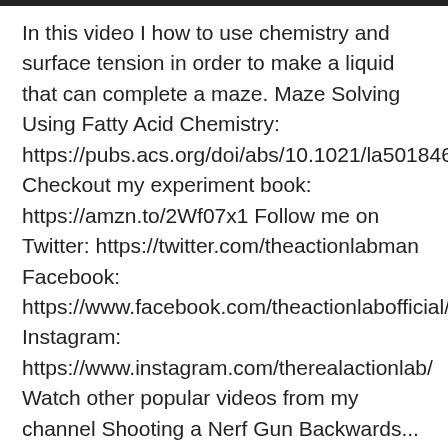In this video I how to use chemistry and surface tension in order to make a liquid that can complete a maze. Maze Solving Using Fatty Acid Chemistry: https://pubs.acs.org/doi/abs/10.1021/la5018467 Checkout my experiment book: https://amzn.to/2Wf07x1 Follow me on Twitter: https://twitter.com/theactionlabman Facebook: https://www.facebook.com/theactionlabofficial/ Instagram: https://www.instagram.com/therealactionlab/ Watch other popular videos from my channel Shooting a Nerf Gun Backwards... Continue